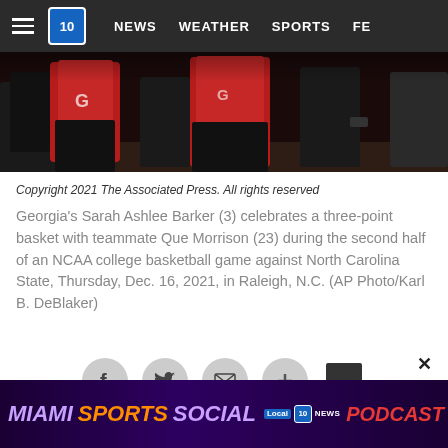NEWS  WEATHER  SPORTS  FE...
[Figure (photo): Basketball players in red and dark uniforms, cropped torso/lower body view during a game]
Copyright 2021 The Associated Press. All rights reserved
Georgia's Sarah Ashlee Barker (3) celebrates a three-point basket with teammate Que Morrison (23) during the second half of an NCAA college basketball game against North Carolina State, Thursday, Dec. 16, 2021, in Raleigh, N.C. (AP Photo/Karl B. DeBlaker)
[Figure (infographic): Social sharing icons: Facebook, Twitter, Email, Plus, Comments]
RALEIGH, N.C. – Coach Joni Taylor watched her 17th-ranked Georgia team respond without panic or jitters when
[Figure (infographic): Advertisement banner: MIAMI SPORTS SOCIAL PODCAST - Local 10 News, Subscribe Now]